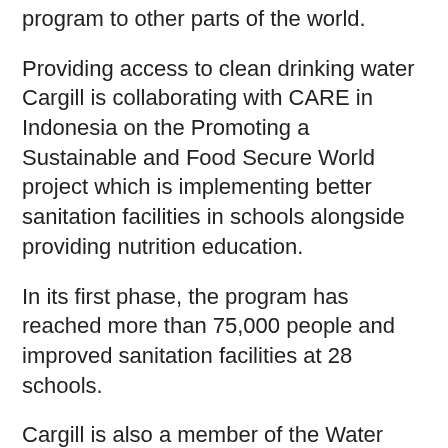program to other parts of the world.
Providing access to clean drinking water Cargill is collaborating with CARE in Indonesia on the Promoting a Sustainable and Food Secure World project which is implementing better sanitation facilities in schools alongside providing nutrition education.
In its first phase, the program has reached more than 75,000 people and improved sanitation facilities at 28 schools.
Cargill is also a member of the Water Resilience Coalition, which is an industry-driven, CEO-led initiative.
In this space, Cargill is furthering its commitment to